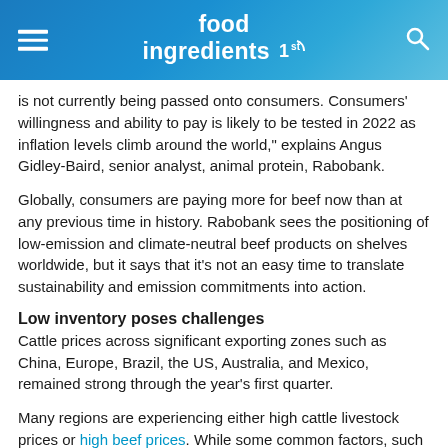food ingredients 1st
is not currently being passed onto consumers. Consumers' willingness and ability to pay is likely to be tested in 2022 as inflation levels climb around the world," explains Angus Gidley-Baird, senior analyst, animal protein, Rabobank.
Globally, consumers are paying more for beef now than at any previous time in history. Rabobank sees the positioning of low-emission and climate-neutral beef products on shelves worldwide, but it says that it's not an easy time to translate sustainability and emission commitments into action.
Low inventory poses challenges
Cattle prices across significant exporting zones such as China, Europe, Brazil, the US, Australia, and Mexico, remained strong through the year's first quarter.
Many regions are experiencing either high cattle livestock prices or high beef prices. While some common factors, such as strong demand from China, local drivers are